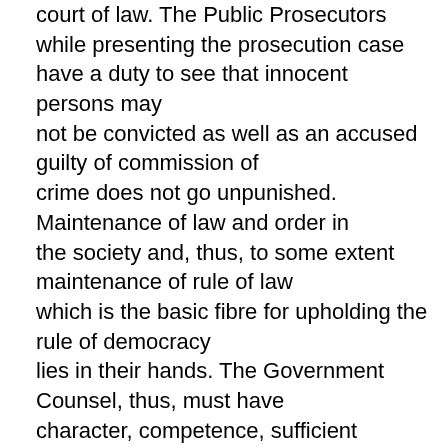court of law. The Public Prosecutors while presenting the prosecution case have a duty to see that innocent persons may not be convicted as well as an accused guilty of commission of crime does not go unpunished. Maintenance of law and order in the society and, thus, to some extent maintenance of rule of law which is the basic fibre for upholding the rule of democracy lies in their hands. The Government Counsel, thus, must have character, competence, sufficient experience as also standing at the Bar. The need for employing meritorious and